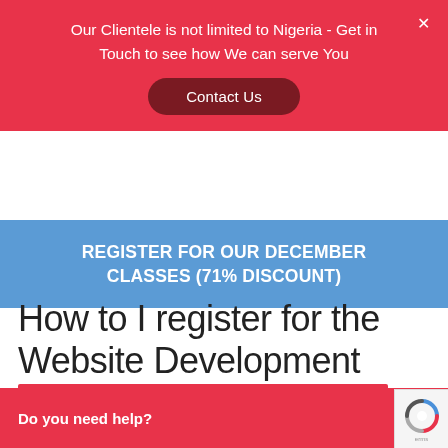Our Clientele is not limited to Nigeria - Get in Touch to see how We can serve You
Contact Us
REGISTER FOR OUR DECEMBER CLASSES (71% DISCOUNT)
How to I register for the Website Development Training?
Fill the form below
Do you need help?